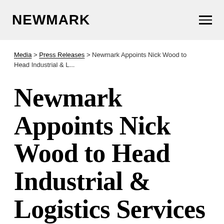NEWMARK
Media > Press Releases > Newmark Appoints Nick Wood to Head Industrial & L...
Newmark Appoints Nick Wood to Head Industrial & Logistics Services
October 5th, 2021 10:00am